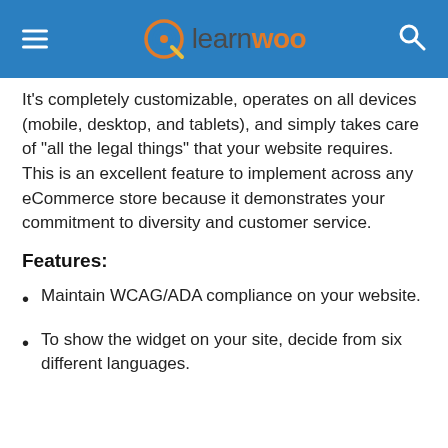learnwoo
It's completely customizable, operates on all devices (mobile, desktop, and tablets), and simply takes care of “all the legal things” that your website requires. This is an excellent feature to implement across any eCommerce store because it demonstrates your commitment to diversity and customer service.
Features:
Maintain WCAG/ADA compliance on your website.
To show the widget on your site, decide from six different languages.